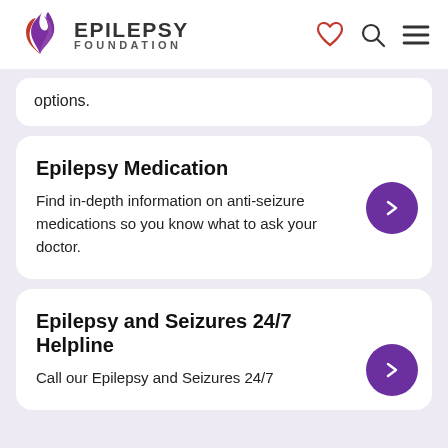[Figure (logo): Epilepsy Foundation logo with purple flame icon and text EPILEPSY FOUNDATION]
options.
Epilepsy Medication
Find in-depth information on anti-seizure medications so you know what to ask your doctor.
Epilepsy and Seizures 24/7 Helpline
Call our Epilepsy and Seizures 24/7